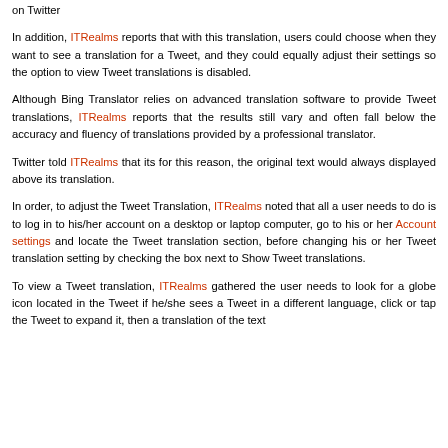on Twitter
In addition, ITRealms reports that with this translation, users could choose when they want to see a translation for a Tweet, and they could equally adjust their settings so the option to view Tweet translations is disabled.
Although Bing Translator relies on advanced translation software to provide Tweet translations, ITRealms reports that the results still vary and often fall below the accuracy and fluency of translations provided by a professional translator.
Twitter told ITRealms that its for this reason, the original text would always displayed above its translation.
In order, to adjust the Tweet Translation, ITRealms noted that all a user needs to do is to log in to his/her account on a desktop or laptop computer, go to his or her Account settings and locate the Tweet translation section, before changing his or her Tweet translation setting by checking the box next to Show Tweet translations.
To view a Tweet translation, ITRealms gathered the user needs to look for a globe icon located in the Tweet if he/she sees a Tweet in a different language, click or tap the Tweet to expand it, then a translation of the text